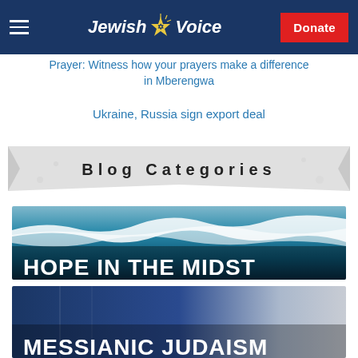Jewish Voice — Donate
Prayer: Witness how your prayers make a difference in Mberengwa
Ukraine, Russia sign export deal
Blog Categories
[Figure (photo): Ocean wave aerial photo with text overlay 'HOPE IN THE MIDST']
[Figure (photo): Israeli flag or Jewish imagery with text overlay 'MESSIANIC JUDAISM']